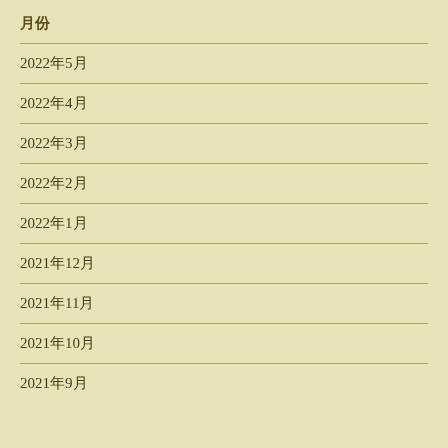月份
2022年5月
2022年4月
2022年3月
2022年2月
2022年1月
2021年12月
2021年11月
2021年10月
2021年9月